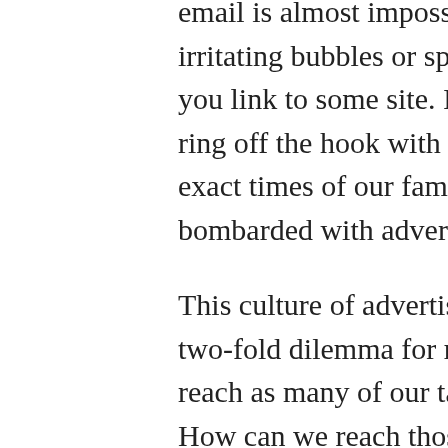email is almost impossible to do without encountering irritating bubbles or spam mail in attempts to make you link to some site. If that is not enough, our phones ring off the hook with telemarketers that know the exact times of our family dinners. In short, we are all bombarded with advertisements on a daily basis.
This culture of advertising saturation has created a two-fold dilemma for most industries. 1) How can we reach as many of our target customers as possible? 2) How can we reach those customers in a way that will make us stand out? Direct Mail is the answer to those questions and KD Mailing and Fulfillment is the perfect source for everyone's Direct Mailing needs. The main advantage of Direct Mail is that it enables the client to determine their own customer criteria in a way that is impossible to do in a more open forum such as website or television advertising. Tailoring an advertisement to an individual raises the likelihood of that individual considering the product or service in question.